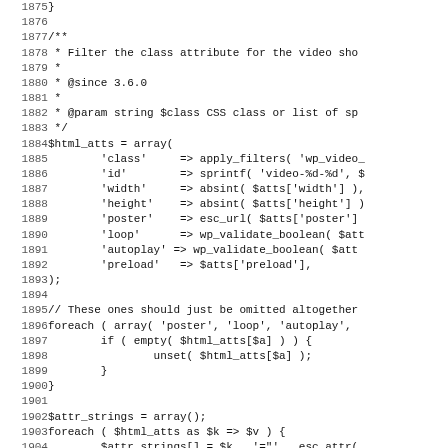[Figure (screenshot): Source code listing showing PHP code with line numbers 1875-1907, including a docblock comment and array assignments for html attributes.]